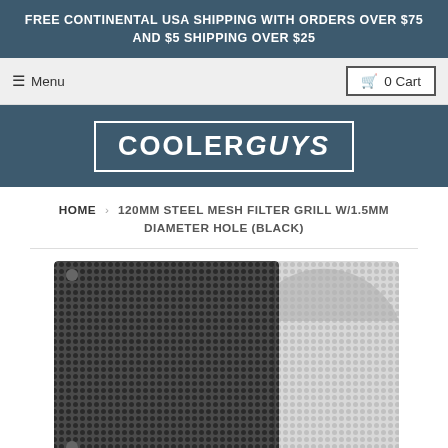FREE CONTINENTAL USA SHIPPING WITH ORDERS OVER $75 AND $5 SHIPPING OVER $25
≡ Menu
🛒 0 Cart
[Figure (logo): CoolerGuys logo: white text in bordered box on dark teal background]
HOME › 120MM STEEL MESH FILTER GRILL W/1.5MM DIAMETER HOLE (BLACK)
[Figure (photo): Close-up product photo of black and white steel mesh filter grills with small round holes, showing two overlapping square panels]